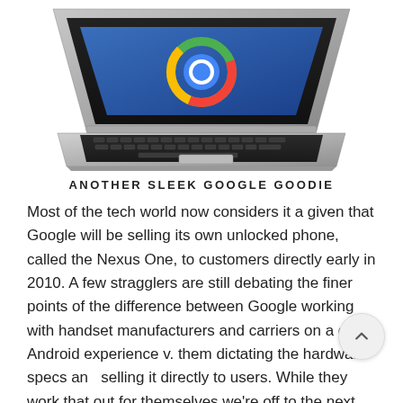[Figure (illustration): A silver laptop computer with a blue screen showing the Chrome/Google logo, viewed from a three-quarter angle from above.]
ANOTHER SLEEK GOOGLE GOODIE
Most of the tech world now considers it a given that Google will be selling its own unlocked phone, called the Nexus One, to customers directly early in 2010. A few stragglers are still debating the finer points of the difference between Google working with handset manufacturers and carriers on a good Android experience v. them dictating the hardware specs and selling it directly to users. While they work that out for themselves we're off to the next story – the Google Chrome OS Netbook (although we think Google has a few surprises left around the Nexus One, too) Google